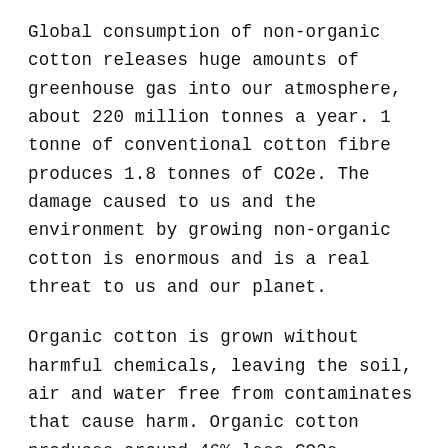Global consumption of non-organic cotton releases huge amounts of greenhouse gas into our atmosphere, about 220 million tonnes a year. 1 tonne of conventional cotton fibre produces 1.8 tonnes of CO2e. The damage caused to us and the environment by growing non-organic cotton is enormous and is a real threat to us and our planet.
Organic cotton is grown without harmful chemicals, leaving the soil, air and water free from contaminates that cause harm. Organic cotton produces around 46% less CO2e compared to conventional cotton.
It also uses far less water to grow since organic cotton growers typically utilise rain